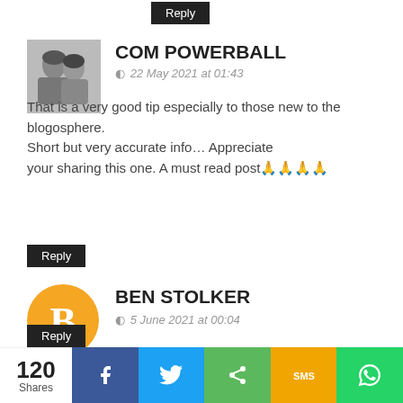Reply
COM POWERBALL
22 May 2021 at 01:43
That is a very good tip especially to those new to the blogosphere.
Short but very accurate info… Appreciate your sharing this one. A must read post🙏🙏🙏🙏
Reply
[Figure (photo): Avatar photo of COM POWERBALL user - two women posed together]
BEN STOLKER
5 June 2021 at 00:04
Others, however 15% just accept that substance composing is the most monotonous and tedious assignment among every one of the undertakings they do. It accordingly arises that to the 55% who discover external link establishment monotonous, this errand is likewise exhausting to them. Ebay SEO expert
Reply
[Figure (logo): Orange circle Blogger logo for Ben Stolker]
120 Shares